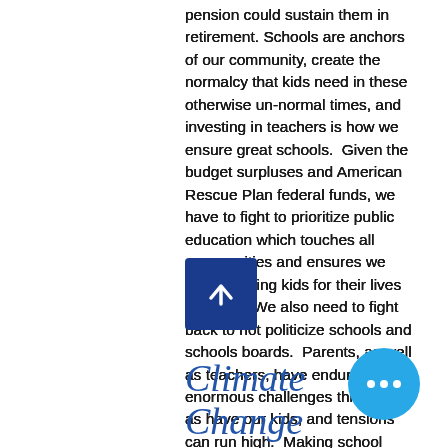pension could sustain them in retirement. Schools are anchors of our community, create the normalcy that kids need in these otherwise un-normal times, and investing in teachers is how we ensure great schools. Given the budget surpluses and American Rescue Plan federal funds, we have to fight to prioritize public education which touches all communities and ensures we are preparing kids for their lives to come. We also need to fight back to not politicize schools and schools boards. Parents, as well as teachers, have endured enormous challenges this year, as have our kids, and tensions can run high. Making school board elections partisan, which many in the statehouse want to do, would only further politicize our schools. It might be great for politics to have partisan school board elections, but its terrible for schools, students, and parents. I'll fight for funding mental health resources for children as well as adults, and ensure our schools are protected places free from the politics of the Indiana statehouse.
Climate Change